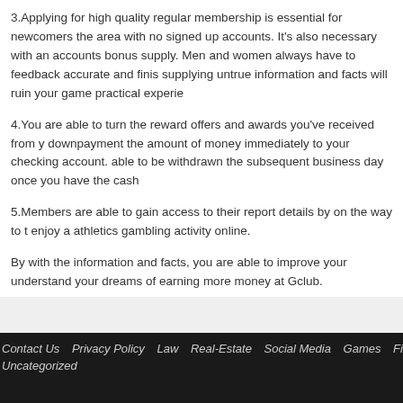3.Applying for high quality regular membership is essential for newcomers the area with no signed up accounts. It's also necessary with an accounts bonus supply. Men and women always have to feedback accurate and finis supplying untrue information and facts will ruin your game practical experie
4.You are able to turn the reward offers and awards you've received from y downpayment the amount of money immediately to your checking account. able to be withdrawn the subsequent business day once you have the cash
5.Members are able to gain access to their report details by on the way to t enjoy a athletics gambling activity online.
By with the information and facts, you are able to improve your understand your dreams of earning more money at Gclub.
Contact Us   Privacy Policy   Law   Real-Estate   Social Media   Games   Finance   S   Uncategorized